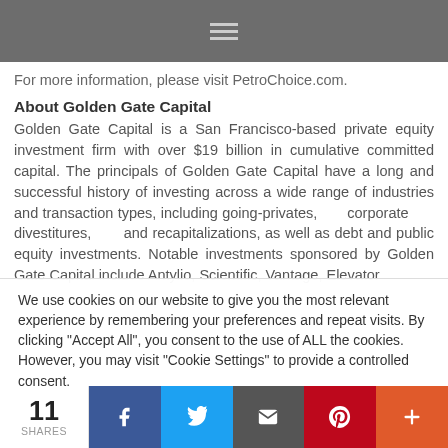For more information, please visit PetroChoice.com.
About Golden Gate Capital
Golden Gate Capital is a San Francisco-based private equity investment firm with over $19 billion in cumulative committed capital. The principals of Golden Gate Capital have a long and successful history of investing across a wide range of industries and transaction types, including going-privates, corporate divestitures, and recapitalizations, as well as debt and public equity investments. Notable investments sponsored by Golden Gate Capital include Antylio, Scientific, Vantage, Elevator
We use cookies on our website to give you the most relevant experience by remembering your preferences and repeat visits. By clicking "Accept All", you consent to the use of ALL the cookies. However, you may visit "Cookie Settings" to provide a controlled consent.
11 SHARES | Facebook | Twitter | Email | Pinterest | More